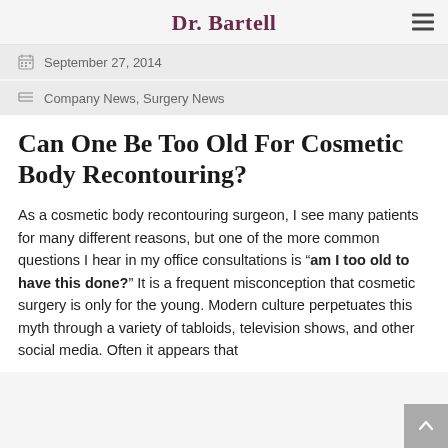Dr. Bartell
September 27, 2014
Company News, Surgery News
Can One Be Too Old For Cosmetic Body Recontouring?
As a cosmetic body recontouring surgeon, I see many patients for many different reasons, but one of the more common questions I hear in my office consultations is "am I too old to have this done?"  It is a frequent misconception that cosmetic surgery is only for the young.  Modern culture perpetuates this myth through a variety of tabloids, television shows, and other social media. Often it appears that...